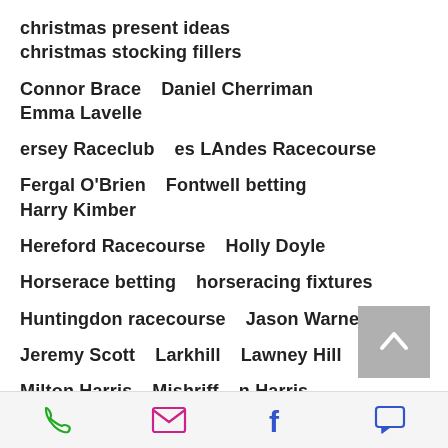christmas present ideas   christmas stocking fillers
Connor Brace   Daniel Cherriman   Emma Lavelle
ersey Raceclub   es LAndes Racecourse
Fergal O'Brien   Fontwell betting   Harry Kimber
Hereford Racecourse   Holly Doyle
Horserace betting   horseracing fixtures
Huntingdon racecourse   Jason Warner
Jeremy Scott   Larkhill   Lawney Hill   Love
Milton Harris   Mishriff   n Harris
Nathan Rahman   Neil Mulholland
Newton Abbot Racecourse   Nicky Henderson
Point-to-Point   race betting   racing tickets
Robbie Dunne   Royal Ascot   Seamus Mullins
phone | email | facebook | chat